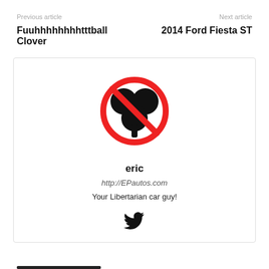Previous article | Next article
Fuuhhhhhhhhtttball Clover
2014 Ford Fiesta ST
[Figure (logo): No-clover symbol: a black three-leaf clover inside a red prohibition circle (circle with diagonal line through it)]
eric
http://EPautos.com
Your Libertarian car guy!
[Figure (illustration): Twitter bird icon in black]